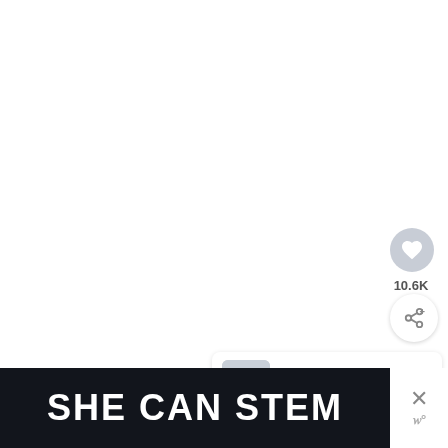[Figure (screenshot): White background upper area of a webpage or app interface]
[Figure (infographic): Heart/like button (circular, gray) with like count 10.6K below it, and a share button (circular, white with shadow) below that]
10.6K
[Figure (infographic): What's Next panel with thumbnail image (gray/light interior room photo), label 'WHAT'S NEXT →', and title 'A Black and White...']
SHE CAN STEM
[Figure (infographic): Close (X) icon and stylized W with degree symbol in bottom right corner]